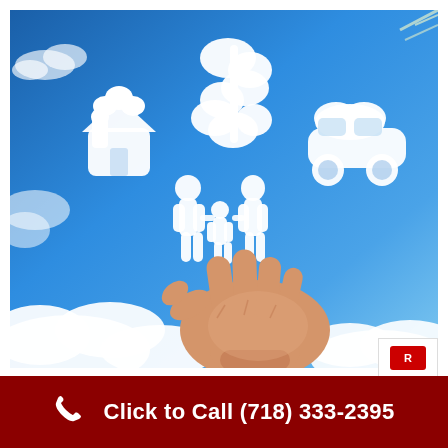[Figure (photo): A hand held open against a blue sky background with white cloud-shaped icons representing insurance concepts: a house, a dollar sign, a family (man, woman, child), and a car — symbolizing home, life, auto, and financial insurance coverage.]
Click to Call (718) 333-2395